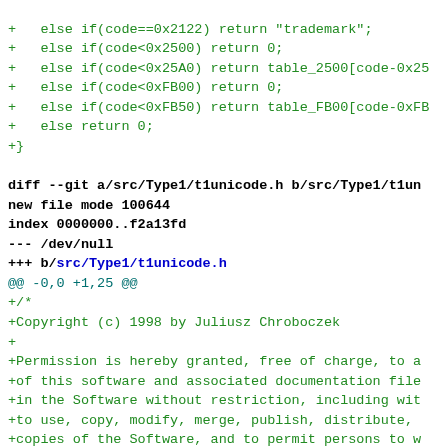Diff output showing code additions in green and a new file header for src/Type1/t1unicode.h with copyright notice